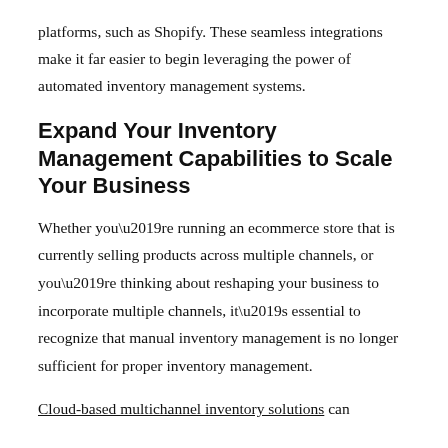platforms, such as Shopify. These seamless integrations make it far easier to begin leveraging the power of automated inventory management systems.
Expand Your Inventory Management Capabilities to Scale Your Business
Whether you’re running an ecommerce store that is currently selling products across multiple channels, or you’re thinking about reshaping your business to incorporate multiple channels, it’s essential to recognize that manual inventory management is no longer sufficient for proper inventory management.
Cloud-based multichannel inventory solutions can